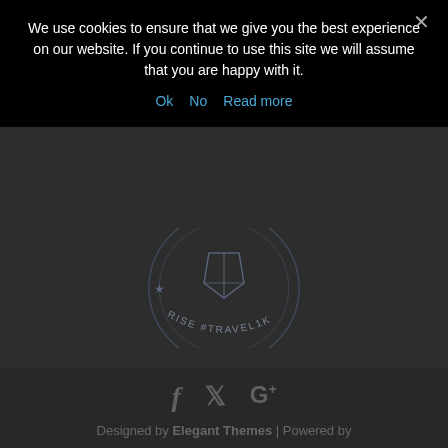We use cookies to ensure that we give you the best experience on our website. If you continue to use this site we will assume that you are happy with it.
Ok   No   Read more
[Figure (logo): Circular stamp/badge logo with text RISE #TRAVEL1K and geometric icon inside]
[Figure (infographic): Social media icons: Facebook (f), Twitter (bird/y), Google+ (G+) in grey]
Designed by Elegant Themes | Powered by